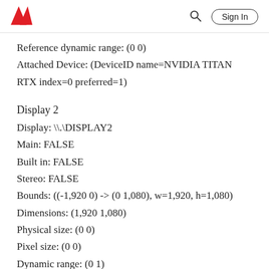Adobe | Sign In
Reference dynamic range: (0 0)
Attached Device: (DeviceID name=NVIDIA TITAN RTX index=0 preferred=1)
Display 2
Display: \\.\DISPLAY2
Main: FALSE
Built in: FALSE
Stereo: FALSE
Bounds: ((-1,920 0) -> (0 1,080), w=1,920, h=1,080)
Dimensions: (1,920 1,080)
Physical size: (0 0)
Pixel size: (0 0)
Dynamic range: (0 1)